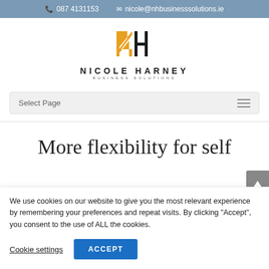087 4131153   nicole@nhbusinesssolutions.ie
[Figure (logo): Nicole Harney Business Solutions logo with stylized gold NH monogram and company name text]
Select Page
More flexibility for self
We use cookies on our website to give you the most relevant experience by remembering your preferences and repeat visits. By clicking “Accept”, you consent to the use of ALL the cookies.
Cookie settings   ACCEPT